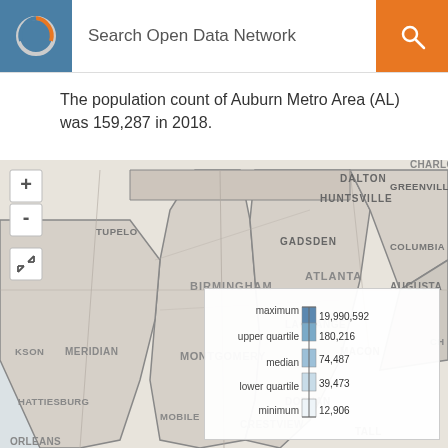Search Open Data Network
The population count of Auburn Metro Area (AL) was 159,287 in 2018.
[Figure (map): Map of southeastern United States showing Alabama and surrounding states/cities including Huntsville, Birmingham, Montgomery, Mobile, Dothan, Crestview, Atlanta, Gadsden, Dalton, LaGrange, Macon, Augusta, Greenville, Columbia, Meridian, Tupelo, Hattiesburg, and others. State boundaries shown in gray. Map has zoom controls (+/-) and an expand button.]
[Figure (other): Legend showing population distribution statistics: maximum 19,990,592; upper quartile 180,216; median 74,487; lower quartile 39,473; minimum 12,906. A vertical bar chart with blue shading indicates the distribution.]